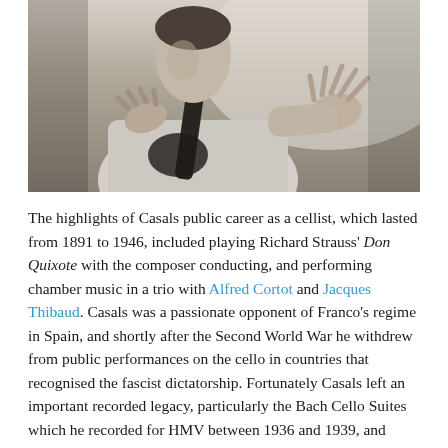[Figure (photo): Black and white photograph of Pablo Casals playing the cello, shown from the torso up, with his right hand extended expressively away from the instrument.]
The highlights of Casals public career as a cellist, which lasted from 1891 to 1946, included playing Richard Strauss' Don Quixote with the composer conducting, and performing chamber music in a trio with Alfred Cortot and Jacques Thibaud. Casals was a passionate opponent of Franco's regime in Spain, and shortly after the Second World War he withdrew from public performances on the cello in countries that recognised the fascist dictatorship. Fortunately Casals left an important recorded legacy, particularly the Bach Cello Suites which he recorded for HMV between 1936 and 1939, and these have been lovingly transcribed by Ward Marston on